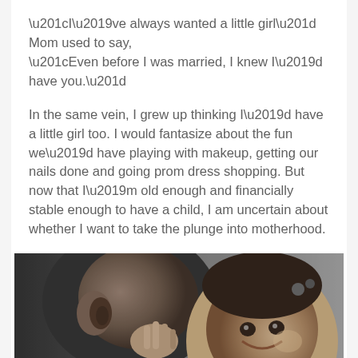“I’ve always wanted a little girl” Mom used to say, “Even before I was married, I knew I’d have you.”
In the same vein, I grew up thinking I’d have a little girl too. I would fantasize about the fun we’d have playing with makeup, getting our nails done and going prom dress shopping. But now that I’m old enough and financially stable enough to have a child, I am uncertain about whether I want to take the plunge into motherhood.
[Figure (photo): Black and white photograph of a mother and young smiling girl child, the mother leaning close to the child who is laughing and reaching up toward the mother's face.]